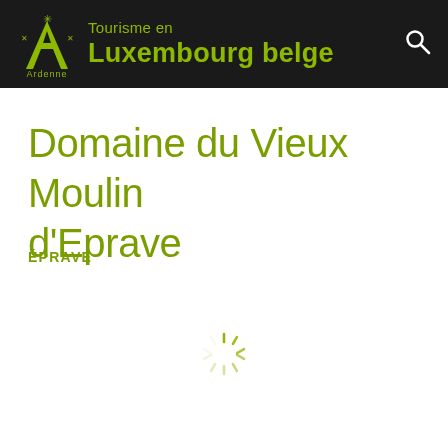Tourisme en Luxembourg belge — Ardenne
Domaine du Vieux Moulin d'Eprave
ÉPRAVE
[Figure (other): Loading spinner icon (animated circular dashes indicating content loading)]